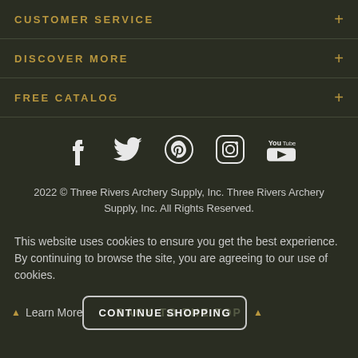CUSTOMER SERVICE
DISCOVER MORE
FREE CATALOG
[Figure (infographic): Social media icons: Facebook, Twitter, Pinterest, Instagram, YouTube]
2022 © Three Rivers Archery Supply, Inc. Three Rivers Archery Supply, Inc. All Rights Reserved.
This website uses cookies to ensure you get the best experience. By continuing to browse the site, you are agreeing to our use of cookies.
Learn More | BACK TO THE TOP | CONTINUE SHOPPING